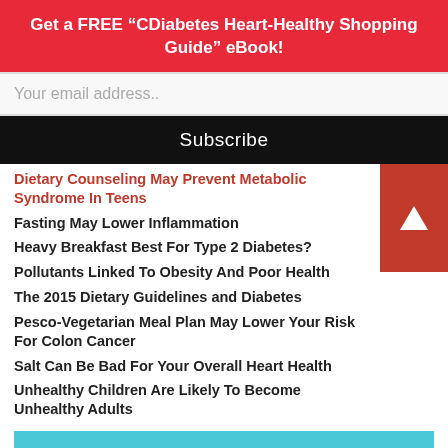Get a FREE “CDiabetes Heart-Healthy Shopping Guide” eBook!
Your email address..
Subscribe
Dietary Counseling May Prevent Metabolic Syndrome In Teens
Fasting May Lower Inflammation
Heavy Breakfast Best For Type 2 Diabetes?
Pollutants Linked To Obesity And Poor Health
The 2015 Dietary Guidelines and Diabetes
Pesco-Vegetarian Meal Plan May Lower Your Risk For Colon Cancer
Salt Can Be Bad For Your Overall Heart Health
Unhealthy Children Are Likely To Become Unhealthy Adults
GET A FREE COPY OF